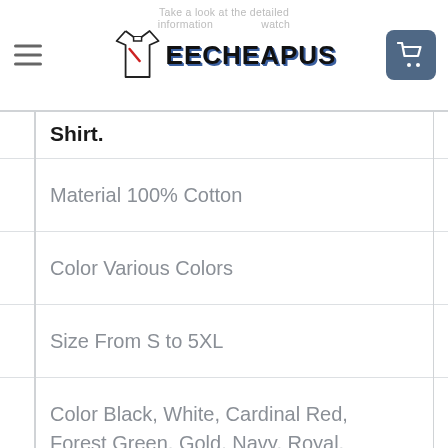TEECHEAPUS - Take a look at the detailed information and watch
Shirt.
Material 100% Cotton
Color Various Colors
Size From S to 5XL
Color Black, White, Cardinal Red, Forest Green, Gold, Navy, Royal, Sport Grey...